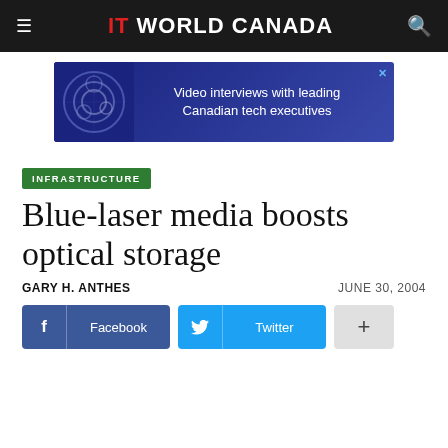IT WORLD CANADA
[Figure (screenshot): Advertisement banner for IT World Canada video interviews with leading Canadian tech executives, dark blue background with decorative circular patterns on the left]
INFRASTRUCTURE
Blue-laser media boosts optical storage
GARY H. ANTHES — JUNE 30, 2004
Facebook  Twitter  +